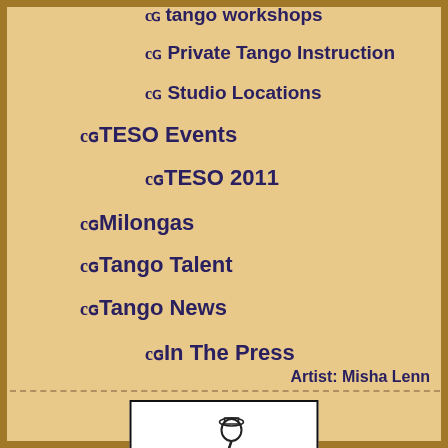Tango Workshops
Private Tango Instruction
Studio Locations
TESO Events
TESO 2011
Milongas
Tango Talent
Tango News
In The Press
Video Clips
Argentine Tango
Tango & Science
Tango Opinion
Featured Artwork
Company Info
Contact Us
Policies
Artist: Misha Lenn
[Figure (illustration): Line drawing of a tango dancer in motion, leaning forward with arms extended]